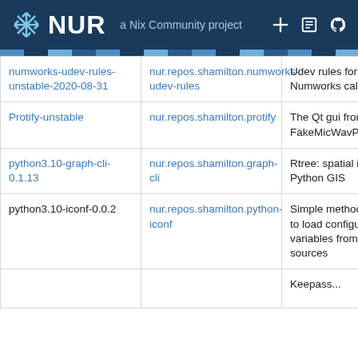NUR a Nix Community project
| Package | Source | Description |
| --- | --- | --- |
| numworks-udev-rules-unstable-2020-08-31 | nur.repos.shamilton.numworks-udev-rules | Udev rules for Numworks calculators |
| Protify-unstable | nur.repos.shamilton.protify | The Qt gui frontend for FakeMicWavPlayer |
| python3.10-graph-cli-0.1.13 | nur.repos.shamilton.graph-cli | Rtree: spatial index for Python GIS |
| python3.10-iconf-0.0.2 | nur.repos.shamilton.python-iconf | Simple method used to load configuration variables from different sources |
|  |  | Keepass... |